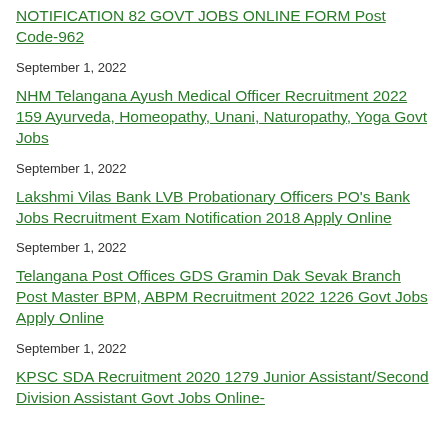NOTIFICATION 82 GOVT JOBS ONLINE FORM Post Code-962
September 1, 2022
NHM Telangana Ayush Medical Officer Recruitment 2022 159 Ayurveda, Homeopathy, Unani, Naturopathy, Yoga Govt Jobs
September 1, 2022
Lakshmi Vilas Bank LVB Probationary Officers PO's Bank Jobs Recruitment Exam Notification 2018 Apply Online
September 1, 2022
Telangana Post Offices GDS Gramin Dak Sevak Branch Post Master BPM, ABPM Recruitment 2022 1226 Govt Jobs Apply Online
September 1, 2022
KPSC SDA Recruitment 2020 1279 Junior Assistant/Second Division Assistant Govt Jobs Online-